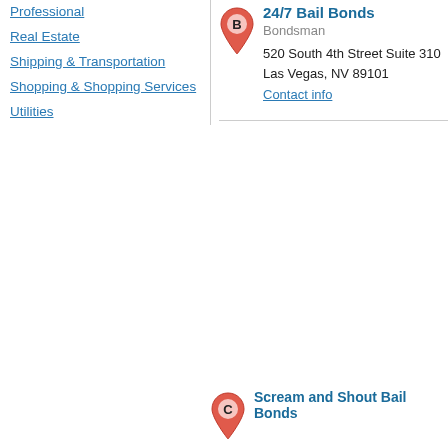Professional
Real Estate
Shipping & Transportation
Shopping & Shopping Services
Utilities
[Figure (illustration): Red map pin marker with letter B]
24/7 Bail Bonds
Bondsman
520 South 4th Street Suite 310
Las Vegas, NV 89101
Contact info
[Figure (illustration): Red map pin marker with letter C]
Scream and Shout Bail Bonds